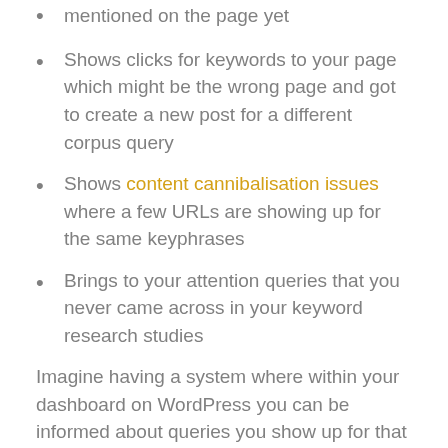mentioned on the page yet
Shows clicks for keywords to your page which might be the wrong page and got to create a new post for a different corpus query
Shows content cannibalisation issues where a few URLs are showing up for the same keyphrases
Brings to your attention queries that you never came across in your keyword research studies
Imagine having a system where within your dashboard on WordPress you can be informed about queries you show up for that are not even mentioned on a page?
Well, this is now available by Dusan who has created a plugin called impressionz.io and here is